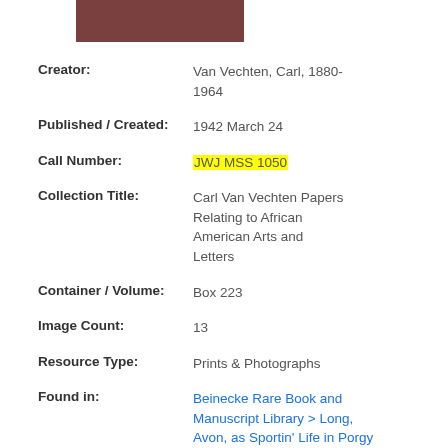[Figure (photo): Partial view of a dark reddish-brown photographic image at top of page]
Creator: Van Vechten, Carl, 1880-1964
Published / Created: 1942 March 24
Call Number: JWJ MSS 1050
Collection Title: Carl Van Vechten Papers Relating to African American Arts and Letters
Container / Volume: Box 223
Image Count: 13
Resource Type: Prints & Photographs
Found in: Beinecke Rare Book and Manuscript Library > Long, Avon, as Sportin' Life in Porgy and Bess," musical composed by George Gershwin, libretto by DuBose Heyward and Ira Gershwin